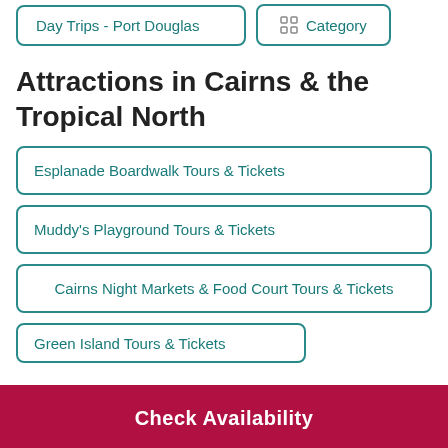Day Trips - Port Douglas
Category
Attractions in Cairns & the Tropical North
Esplanade Boardwalk Tours & Tickets
Muddy's Playground Tours & Tickets
Cairns Night Markets & Food Court Tours & Tickets
Green Island Tours & Tickets (partially visible)
Check Availability